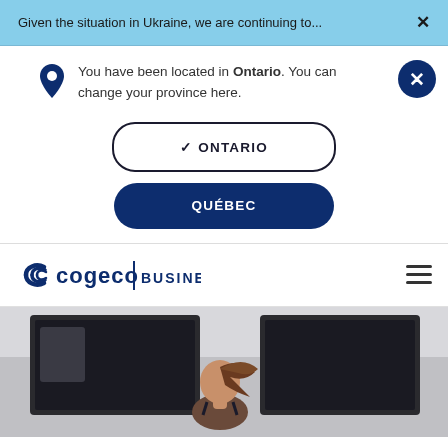Given the situation in Ukraine, we are continuing to...
You have been located in Ontario. You can change your province here.
✓ ONTARIO
QUÉBEC
[Figure (logo): Cogeco Business logo with stylized C icon and text]
[Figure (photo): Woman with ponytail seen from behind, facing two large digital display screens in a bright room]